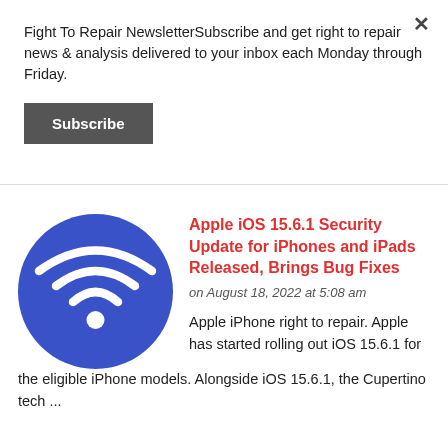Fight To Repair NewsletterSubscribe and get right to repair news & analysis delivered to your inbox each Monday through Friday.
Subscribe
Apple iOS 15.6.1 Security Update for iPhones and iPads Released, Brings Bug Fixes
on August 18, 2022 at 5:08 am
Apple iPhone right to repair. Apple has started rolling out iOS 15.6.1 for the eligible iPhone models. Alongside iOS 15.6.1, the Cupertino tech ...